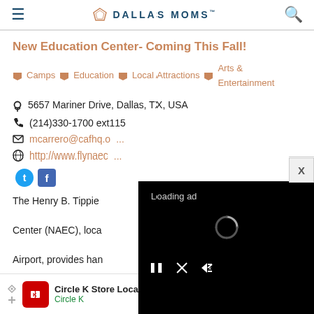DALLAS MOMS
New Education Center- Coming This Fall!
Camps  Education  Local Attractions  Arts & Entertainment
5657 Mariner Drive, Dallas, TX, USA
(214)330-1700 ext115
mcarrero@cafhq.o...
http://www.flynaec...
[Figure (screenshot): Video player overlay showing 'Loading ad' with spinner and playback controls on black background]
The Henry B. Tippie ... Center (NAEC), loca... Airport, provides han... activities for all ages. Our mission is to Honor the Past, Enc...
[Figure (infographic): Circle K Store Locator advertisement banner at bottom of page]